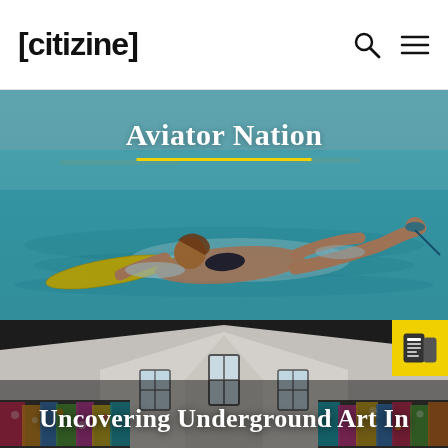[CITIZINE]
[Figure (photo): Woman in bikini surfing/paddling on turquoise water with a yellow surfboard, outdoor ocean scene]
Aviator Nation
[Figure (photo): Interior of an art gallery with vaulted white ceiling, colorful murals/paintings covering the lower walls on both sides]
Uncovering Underground Art In